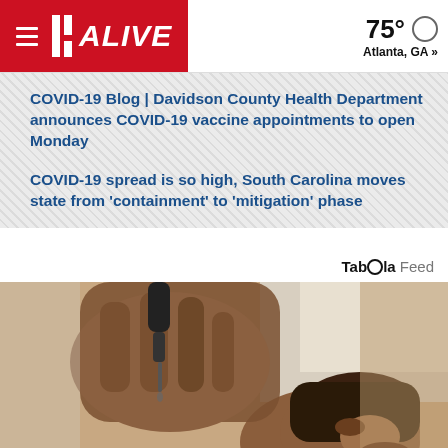11 ALIVE | 75° Atlanta, GA »
COVID-19 Blog | Davidson County Health Department announces COVID-19 vaccine appointments to open Monday
COVID-19 spread is so high, South Carolina moves state from 'containment' to 'mitigation' phase
Taboola Feed
[Figure (photo): Close-up of a person tilting their head back while a hand holds a dropper above their mouth, in a bright indoor setting]